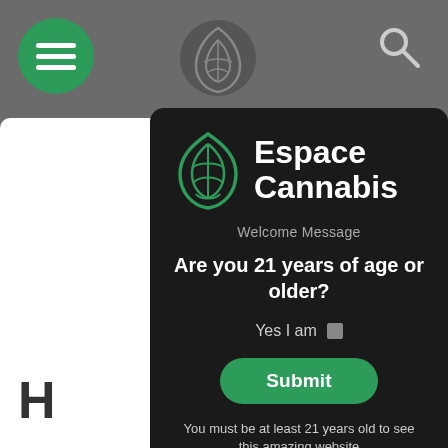[Figure (screenshot): Age verification modal dialog for Espace Cannabis website. Dark modal on gray browser background showing cannabis logo, brand name, welcome message, age question, yes checkbox, submit button, and warning text.]
Espace Cannabis
Welcome Message
Are you 21 years of age or older?
Yes I am
Submit
You must be at least 21 years old to see this amazing website